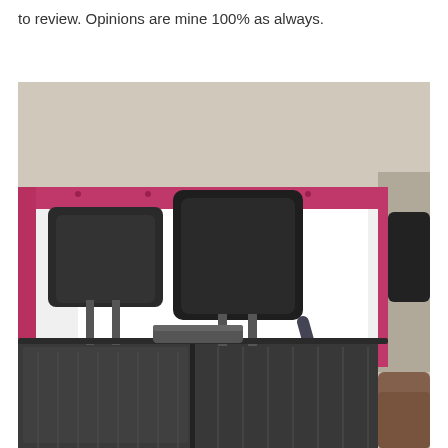to review. Opinions are mine 100% as always.
[Figure (photo): Interior view from back seat of a car, showing rear headrests with black upholstery, a pink/magenta roll bar or window frame trim, seat belts, gray fabric seat covers, car ceiling/headliner visible at top, and bright light through the rear window.]